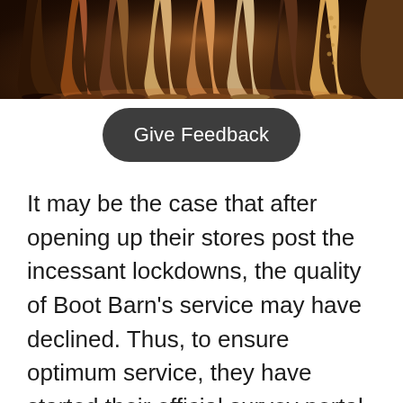[Figure (photo): A row of cowboy/western boots lined up on a wooden floor, photographed from a low angle showing the toes and shafts, warm brown tones]
Give Feedback
It may be the case that after opening up their stores post the incessant lockdowns, the quality of Boot Barn’s service may have declined. Thus, to ensure optimum service, they have started their official survey portal for customers. The survey includes a series of questions that you have to answer. You will be provided with